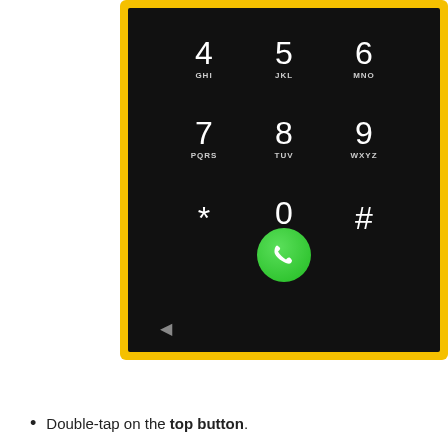[Figure (screenshot): Smartphone dialpad screen with yellow border frame showing number keys 4-9, *, 0 (with +), #, a green call button, and a back arrow. Numbers displayed: 4 GHI, 5 JKL, 6 MNO, 7 PQRS, 8 TUV, 9 WXYZ, *, 0 +, #.]
Double-tap on the top button.